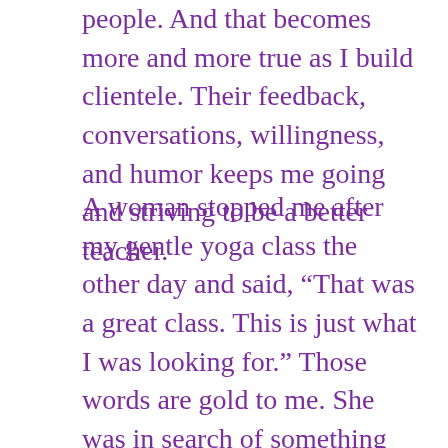people. And that becomes more and more true as I build clientele. Their feedback, conversations, willingness, and humor keeps me going and striving to be a better teacher.
A woman stopped me after my gentle yoga class the other day and said, “That was a great class. This is just what I was looking for.” Those words are gold to me. She was in search of something and it showed up. The Law of Attraction at its best.
A man in my chair yoga class asked for clarification about how to do a torso twist. I always emphasize that a twist starts at the waist, follows through with the ribs and chest, and finishes with the shoulders and head. He